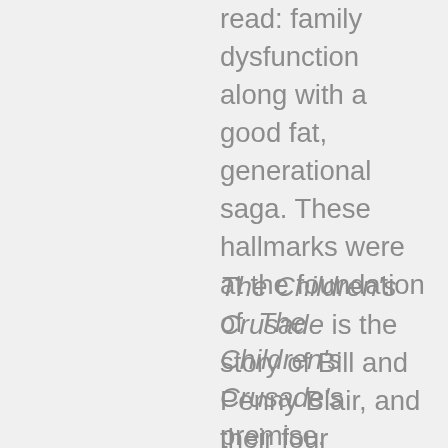read: family dysfunction along with a good fat, generational saga. These hallmarks were at the foundation of The Children's Crusade's premise.
The Children's Crusade is the story of Bill and Penny Blair, and their four children: Robert, Rebecca, Ryan and James. In the Blair family's early history, Bill Blair had purchased a plot of land, long before it would become known as Silicon Valley. It was his intent to settle down and raise a family in a home to be built on this land, his prized property. One other